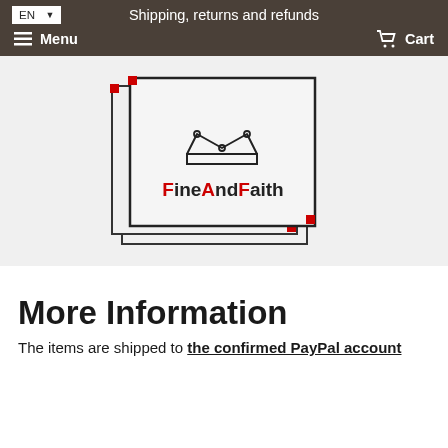Shipping, returns and refunds
[Figure (logo): FineAndFaith logo with crown icon and stacked square frames]
More Information
The items are shipped to the confirmed PayPal account